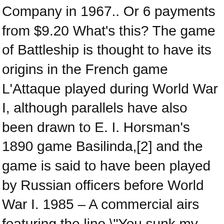Company in 1967.. Or 6 payments from $9.20 What's this? The game of Battleship is thought to have its origins in the French game L'Attaque played during World War I, although parallels have also been drawn to E. I. Horsman's 1890 game Basilinda,[2] and the game is said to have been played by Russian officers before World War I. 1985 – A commercial airs featuring the line "You sunk my battleship!" which remains a popular phrase to this day. Brand: Hasbro GamingColor: Multi ColorFeatures: High quality toys for children all ages Made using safe materials Tested for quality and durability Classic battleship game lets you hold head-to-head Naval battles If you can locate your enemy's Ships you can destroy all 5 for the win Battleship ... Battleship was also part of Hasbro Family Game Night for the PlayStation 2 and Wii, as well as the Xbox 360 (Xbox Live Arcade). Even a movie came out in 2012, which